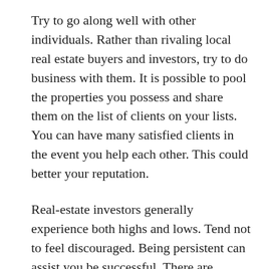Try to go along well with other individuals. Rather than rivaling local real estate buyers and investors, try to do business with them. It is possible to pool the properties you possess and share them on the list of clients on your lists. You can have many satisfied clients in the event you help each other. This could better your reputation.
Real-estate investors generally experience both highs and lows. Tend not to feel discouraged. Being persistent can assist you be successful. There are actually success when you don’t give up.
Don’t let emotions creep into negotiations. Never lose sight of the truth that the home is undoubtedly an income property. Restrain your emotions to prevent overpaying and losing potential profit. Keep to the advice presented here to help make better